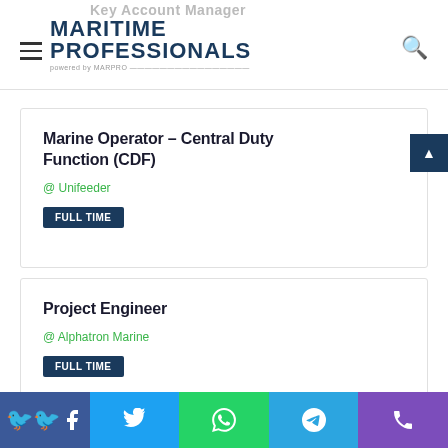Maritime Professionals powered by MARPRO
Marine Operator – Central Duty Function (CDF)
@ Unifeeder
FULL TIME
Project Engineer
@ Alphatron Marine
FULL TIME